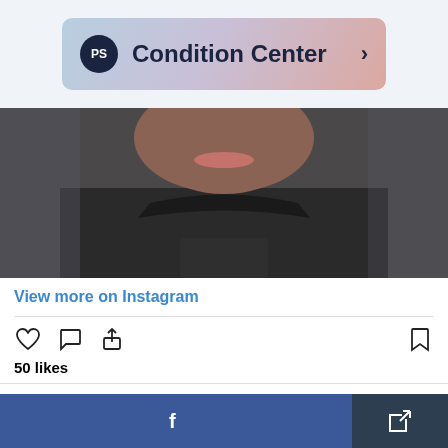[Figure (screenshot): PS Condition Center header banner with gradient background (blue to pink), PS logo circle, title text and chevron arrow]
[Figure (photo): Close-up photo of a person from chin to chest wearing a dark/black t-shirt, smiling, with brown skin]
View more on Instagram
[Figure (screenshot): Instagram action icons: heart (like), speech bubble (comment), share arrow on left; bookmark on right]
50 likes
Add a comment...
That depends on what stage you're in on your loc
[Figure (screenshot): Bottom share bar with Facebook button (blue with f logo) and dark share/export button]